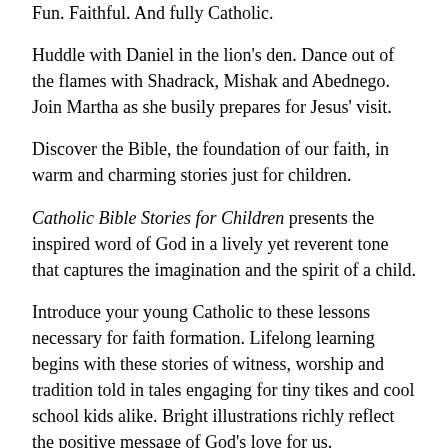Fun. Faithful. And fully Catholic.
Huddle with Daniel in the lion's den. Dance out of the flames with Shadrack, Mishak and Abednego. Join Martha as she busily prepares for Jesus' visit.
Discover the Bible, the foundation of our faith, in warm and charming stories just for children.
Catholic Bible Stories for Children presents the inspired word of God in a lively yet reverent tone that captures the imagination and the spirit of a child.
Introduce your young Catholic to these lessons necessary for faith formation. Lifelong learning begins with these stories of witness, worship and tradition told in tales engaging for tiny tikes and cool school kids alike. Bright illustrations richly reflect the positive message of God's love for us.